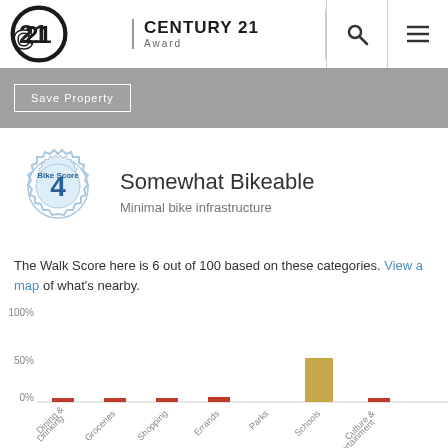CENTURY 21 Award
Save Property
[Figure (infographic): Bike Score badge showing score of 4]
Somewhat Bikeable
Minimal bike infrastructure
The Walk Score here is 6 out of 100 based on these categories. View a map of what's nearby.
[Figure (bar-chart): Walk Score categories]